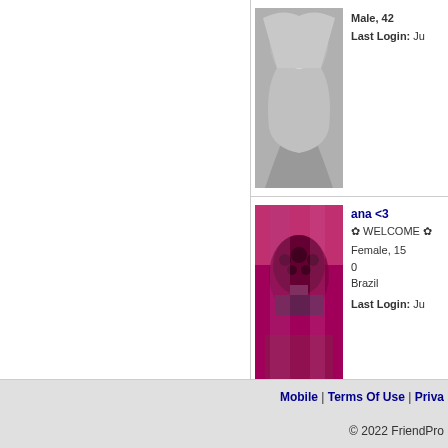[Figure (photo): Black and white photo of a young woman smiling, with long dark hair]
Male, 42
Last Login: Ju
[Figure (photo): Pink-tinted photo of a person wearing a dark helmet or hat]
ana <3
✿ WELCOME ✿
Female, 15
0
Brazil
Last Login: Ju
Mobile | Terms Of Use | Priva
© 2022 FriendPro